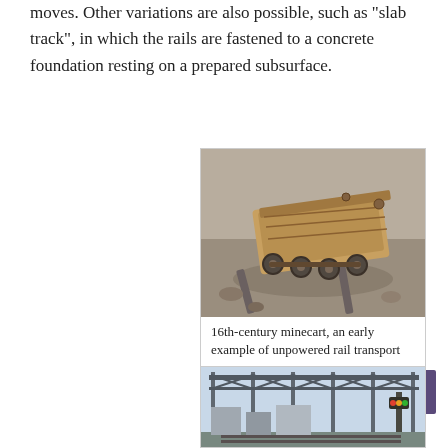moves. Other variations are also possible, such as "slab track", in which the rails are fastened to a concrete foundation resting on a prepared subsurface.
[Figure (photo): 16th-century minecart resting on rails, photographed from above at an angle, showing wooden construction and small wheels]
16th-century minecart, an early example of unpowered rail transport
[Figure (photo): Partial view of a railway scene showing overhead gantry structures and signals]